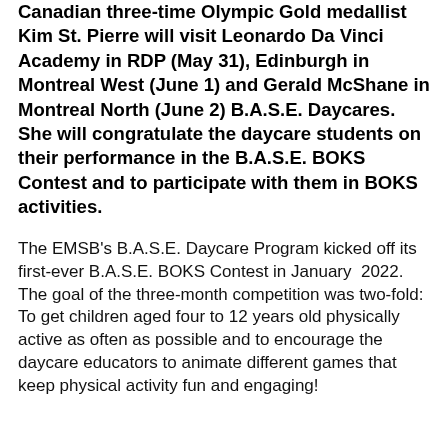Canadian three-time Olympic Gold medallist Kim St. Pierre will visit Leonardo Da Vinci Academy in RDP (May 31), Edinburgh in Montreal West (June 1) and Gerald McShane in Montreal North (June 2) B.A.S.E. Daycares. She will congratulate the daycare students on their performance in the B.A.S.E. BOKS Contest and to participate with them in BOKS activities.
The EMSB's B.A.S.E. Daycare Program kicked off its first-ever B.A.S.E. BOKS Contest in January 2022. The goal of the three-month competition was two-fold: To get children aged four to 12 years old physically active as often as possible and to encourage the daycare educators to animate different games that keep physical activity fun and engaging!